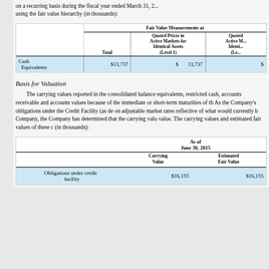on a recurring basis during the fiscal year ended March 31, 20... using the fair value hierarchy (in thousands):
|  | Total | Quoted Prices in Active Markets for Identical Assets (Level 1) | Quoted... Active M... Identi... (Le... |
| --- | --- | --- | --- |
| Cash Equivalents | $13,737 | $ | 13,737 | $ |
Basis for Valuation
The carrying values reported in the consolidated balance... equivalents, restricted cash, accounts receivable and accounts... values because of the immediate or short-term maturities of th... As the Company's obligations under the Credit Facility (as de... on adjustable market rates reflective of what would currently b... Company, the Company has determined that the carrying valu... value. The carrying values and estimated fair values of these c... (in thousands):
|  | As of June 30, 2015 Carrying Value | As of June 30, 2015 Estimated Fair Value |
| --- | --- | --- |
| Obligations under credit facility | $16,155 | $16,155 |